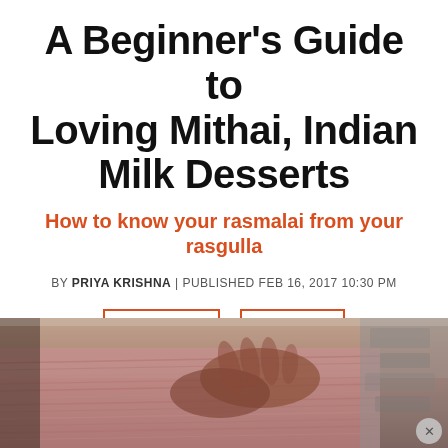A Beginner’s Guide to Loving Mithai, Indian Milk Desserts
How to know your rasmalai from your rasgulla
BY PRIYA KRISHNA | PUBLISHED FEB 16, 2017 10:30 PM
CULTURE
TRAVEL
[Figure (photo): Close-up photo of hands, partially visible, with pink/mauve fabric or clothing visible, set against a stone or rough background. Bottom portion of the article page.]